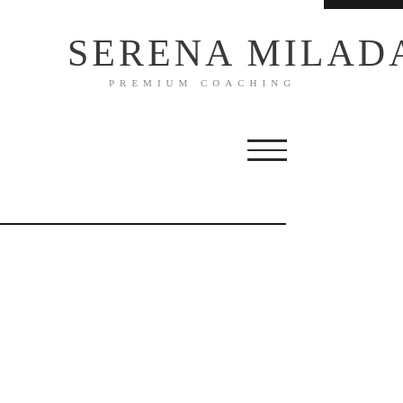SERENA MILADA PREMIUM COACHING
[Figure (other): Hamburger menu icon with three horizontal lines]
[Figure (other): Dark decorative bar at top right corner]